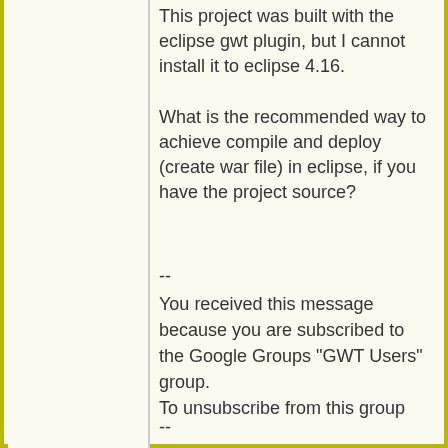This project was built with the eclipse gwt plugin, but I cannot install it to eclipse 4.16.

What is the recommended way to achieve compile and deploy (create war file) in eclipse, if you have the project source?
--
You received this message because you are subscribed to the Google Groups "GWT Users" group.
To unsubscribe from this group and stop receiving emails from it, send an email to google-web-toolkit+unsubscribe@googlegroups.com.
To view this discussion on the web visit https://groups.google.com/d/msgid/google-web-toolkit/b10ca891-b6d0-4fdf-a2ee-e0296cb03fc2o%40googlegroups.com.
--